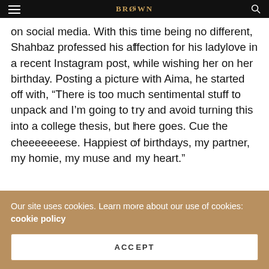BROWN IDENTITY
on social media. With this time being no different, Shahbaz professed his affection for his ladylove in a recent Instagram post, while wishing her on her birthday. Posting a picture with Aima, he started off with, “There is too much sentimental stuff to unpack and I’m going to try and avoid turning this into a college thesis, but here goes. Cue the cheeeeeeese. Happiest of birthdays, my partner, my homie, my muse and my heart.”
[Figure (screenshot): Embedded social media post with avatar and content]
Our site uses cookies. Learn more about our use of cookies: cookie policy
ACCEPT